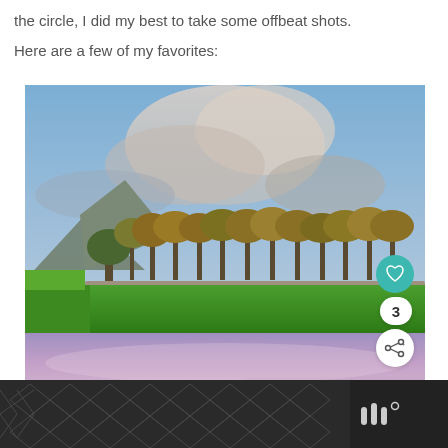the circle, I did my best to take some offbeat shots.
Here are a few of my favorites:
[Figure (photo): Landscape photo of green fields, trees, and mountains under a dramatic blue sky with clouds. Overlay UI elements: heart/like button (teal), share button, count badge showing 3, and a 'What's Next' panel showing 'Chester: The Beauty of...']
[Figure (photo): Purple-pink dusk sky photo at bottom of main image area]
[Figure (other): Dark bottom bar with geometric chevron/hexagon pattern and brand logo (Wattpad-style triple bars with degree symbol)]